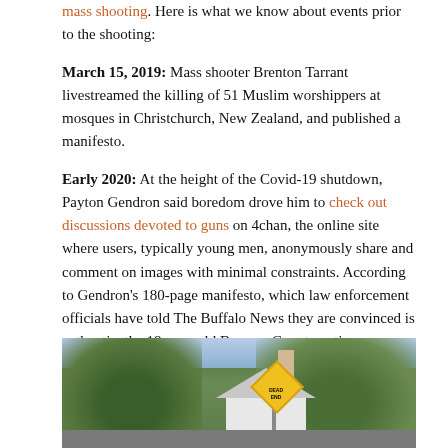mass shooting. Here is what we know about events prior to the shooting:
March 15, 2019: Mass shooter Brenton Tarrant livestreamed the killing of 51 Muslim worshippers at mosques in Christchurch, New Zealand, and published a manifesto.
Early 2020: At the height of the Covid-19 shutdown, Payton Gendron said boredom drove him to check out discussions devoted to guns on 4chan, the online site where users, typically young men, anonymously share and comment on images with minimal constraints. According to Gendron's 180-page manifesto, which law enforcement officials have told The Buffalo News they are convinced is authentic, the 18-year-old Broome County native soon drifted over to another forum on 4chan devoted to politics, where he was introduced to virulently racist and anti-Semitic ideology and steered to other internet sites where hate runs rampant.
[Figure (photo): Exterior photo of a residential house with trees in the background and a Dead End road sign visible in the foreground.]